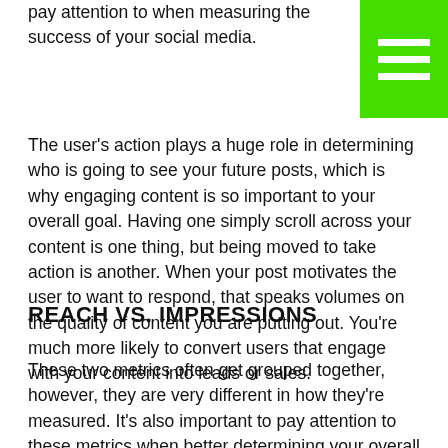pay attention to when measuring the success of your social media.
The user's action plays a huge role in determining who is going to see your future posts, which is why engaging content is so important to your overall goal. Having one simply scroll across your content is one thing, but being moved to take action is another. When your post motivates the user to want to respond, that speaks volumes on the quality of content you are putting out. You're much more likely to convert users that engage with your content into leads or sales.
REACH VS. IMPRESSIONS
These two metrics often get grouped together, however, they are very different in how they're measured. It's also important to pay attention to these metrics when better determining your overall engagement.